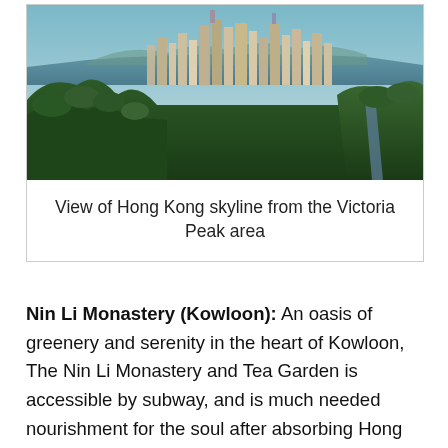[Figure (photo): Aerial panoramic photograph of Hong Kong skyline viewed from the Victoria Peak area, showing dense urban skyscrapers with green hills in the foreground and harbor/water in the background.]
View of Hong Kong skyline from the Victoria Peak area
Nin Li Monastery (Kowloon): An oasis of greenery and serenity in the heart of Kowloon, The Nin Li Monastery and Tea Garden is accessible by subway, and is much needed nourishment for the soul after absorbing Hong Kong's roaring din.